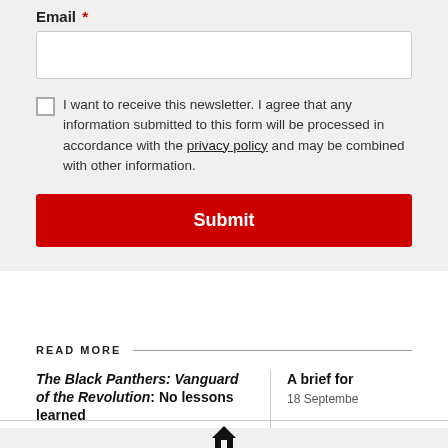Email *
I want to receive this newsletter. I agree that any information submitted to this form will be processed in accordance with the privacy policy and may be combined with other information.
Submit
READ MORE
The Black Panthers: Vanguard of the Revolution: No lessons learned
9 October 2015
A brief for
18 Septembe